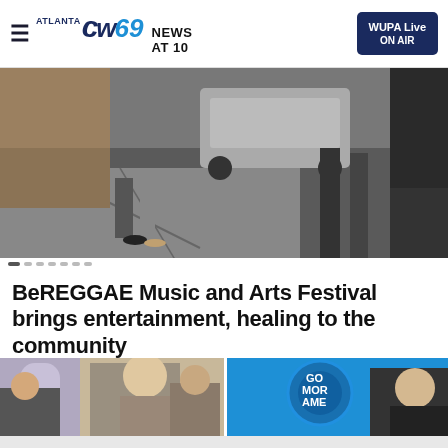ATLANTA CW69 NEWS AT 10 — WUPA Live ON AIR
[Figure (photo): Street scene photo showing pavement, feet of people standing, and a car in the background — hero banner image]
BeREGGAE Music and Arts Festival brings entertainment, healing to the community
[Figure (photo): Two-panel composite: left panel shows a blonde woman in a gray top gesturing on a TV set with studio audience; right panel shows Good Morning America set with another woman in a black top and the GMA logo visible in background]